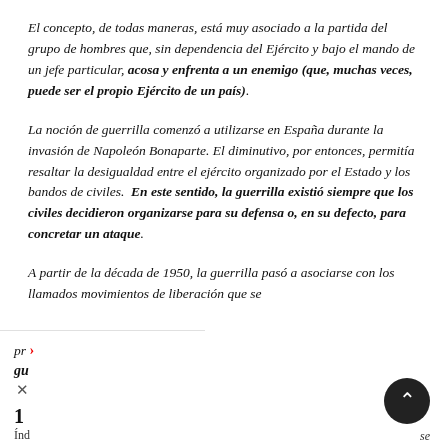El concepto, de todas maneras, está muy asociado a la partida del grupo de hombres que, sin dependencia del Ejército y bajo el mando de un jefe particular, acosa y enfrenta a un enemigo (que, muchas veces, puede ser el propio Ejército de un país).
La noción de guerrilla comenzó a utilizarse en España durante la invasión de Napoleón Bonaparte. El diminutivo, por entonces, permitía resaltar la desigualdad entre el ejército organizado por el Estado y los bandos de civiles. En este sentido, la guerrilla existió siempre que los civiles decidieron organizarse para su defensa o, en su defecto, para concretar un ataque.
A partir de la década de 1950, la guerrilla pasó a asociarse con los llamados movimientos de liberación que se pr... gu...